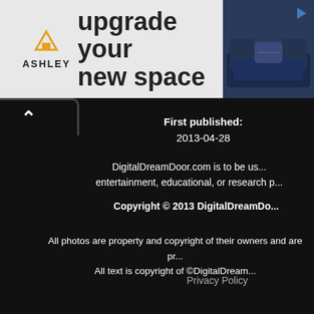[Figure (screenshot): Ashley Furniture advertisement banner showing logo, 'upgrade your new space' text, shop now button, and couch image]
First published:
2013-04-28
DigitalDreamDoor.com is to be used for entertainment, educational, or research p...
Copyright © 2013 DigitalDreamDoo...
All photos are property and copyright of their owners and are pr...
All text is copyright of ©DigitalDream...
Privacy Policy
[Figure (logo): DigitalDreamDoor DDD circular logo with teal gradient border]
DigitalDreamDoor